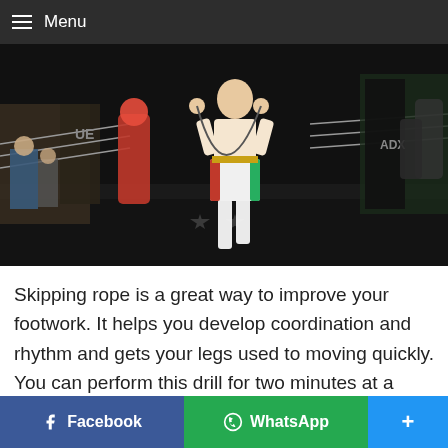Menu
[Figure (photo): A boxer in white shorts with red/green/white stripes jumping rope in a boxing gym. A training dummy and boxing ring ropes are visible in the background. ADX boxing equipment branding is visible.]
Skipping rope is a great way to improve your footwork. It helps you develop coordination and rhythm and gets your legs used to moving quickly. You can perform this drill for two minutes at a time and then rest for one minute. Do this for five rounds.
Skipping also helps to improve your endurance,
Facebook   WhatsApp   +